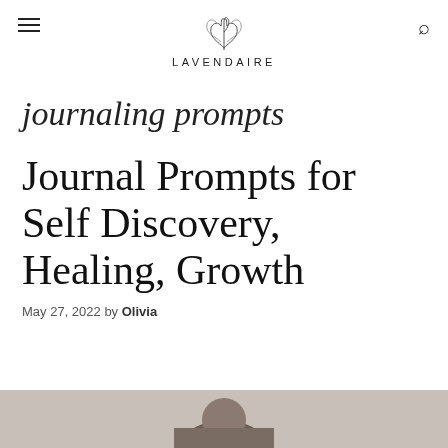LAVENDAIRE
journaling prompts
Journal Prompts for Self Discovery, Healing, Growth
May 27, 2022 by Olivia
[Figure (photo): Partial thumbnail image of a person, partially visible at the bottom of the page]